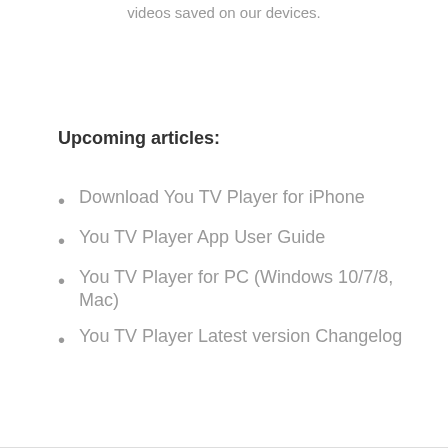videos saved on our devices.
Upcoming articles:
Download You TV Player for iPhone
You TV Player App User Guide
You TV Player for PC (Windows 10/7/8, Mac)
You TV Player Latest version Changelog